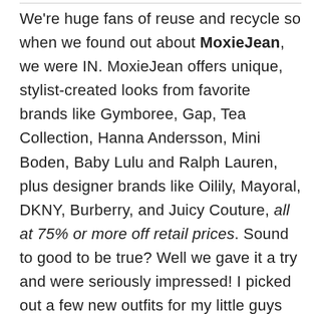We're huge fans of reuse and recycle so when we found out about MoxieJean, we were IN. MoxieJean offers unique, stylist-created looks from favorite brands like Gymboree, Gap, Tea Collection, Hanna Andersson, Mini Boden, Baby Lulu and Ralph Lauren, plus designer brands like Oilily, Mayoral, DKNY, Burberry, and Juicy Couture, all at 75% or more off retail prices. Sound to good to be true? Well we gave it a try and were seriously impressed! I picked out a few new outfits for my little guys and honestly spent LESS that you would for just ONE SHIRT at other stores! The box arrived and I was astonished at the